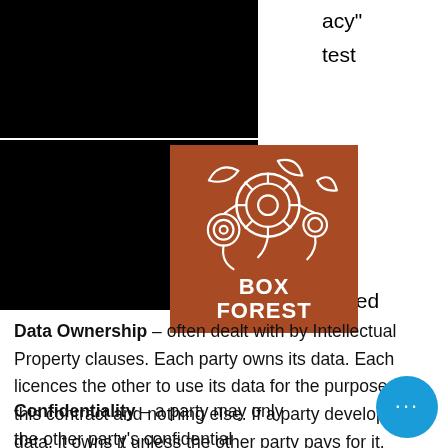acy"
test
[Figure (logo): Box Forest logo: brown/terracotta square with white illustrated tangled machinery/cables and bold white text reading BOX FOREST]
tal
ooked
Data Ownership – often dealt with by Intellectual Property clauses. Each party owns its data. Each licences the other to use its data for the purpose of this contract and nothing else. If a party develops new data, it owns it unless the other party pays for it.
Confidentiality – a party may only the other party's confidential